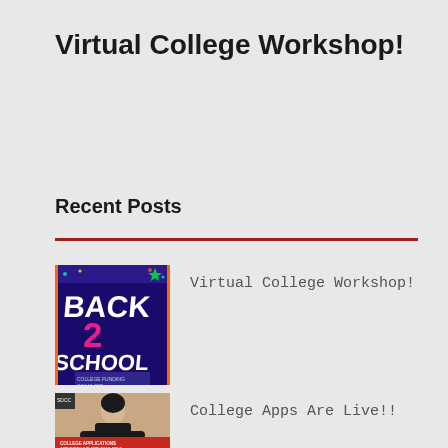Virtual College Workshop!
Recent Posts
[Figure (illustration): Back 2 School colorful flyer thumbnail with blue and purple background]
Virtual College Workshop!
[Figure (photo): Student sitting at desk, college applications are now live and available flyer thumbnail]
College Apps Are Live!!